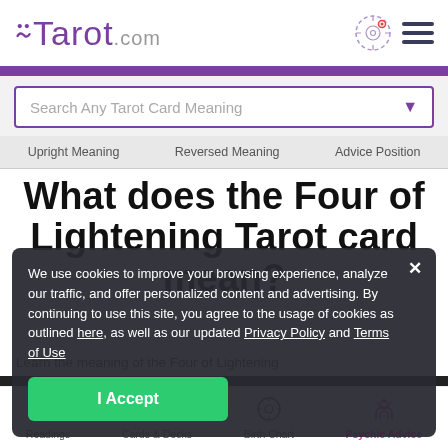[Figure (logo): Tarot.com logo with stylized moon symbol in purple]
[Figure (screenshot): Search bar with 'Search Any Tarot Card Meaning' placeholder and purple dropdown arrow]
Upright Meaning   Reversed Meaning   Advice Position
What does the Four of Lightening Tarot card mean?
Learn the meaning of the Four of Lightening
We use cookies to improve your browsing experience, analyze our traffic, and offer personalized content and advertising. By continuing to use this site, you agree to the usage of cookies as outlined here, as well as our updated Privacy Policy and Terms of Use
I Accept
Readings   Cards & Decks   Birth Chart   Psychic Advice